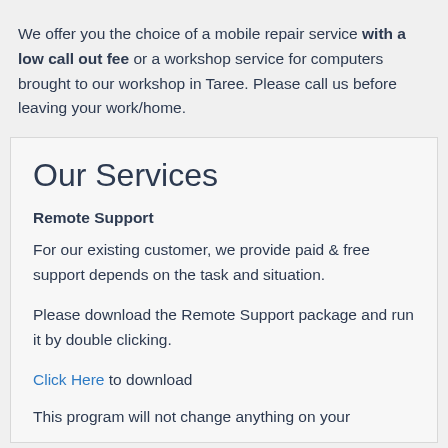We offer you the choice of a mobile repair service with a low call out fee or a workshop service for computers brought to our workshop in Taree. Please call us before leaving your work/home.
Our Services
Remote Support
For our existing customer, we provide paid & free support depends on the task and situation.
Please download the Remote Support package and run it by double clicking.
Click Here to download
This program will not change anything on your